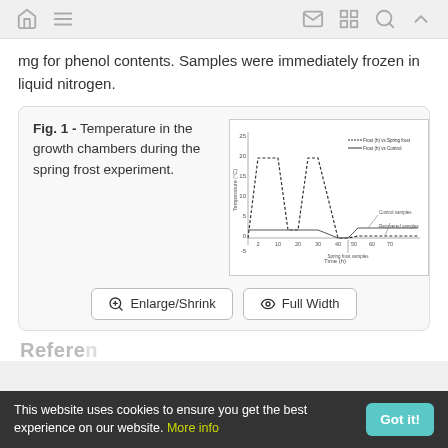[Navigation bar with home, menu, mail, grid, search, up icons]
mg for phenol contents. Samples were immediately frozen in liquid nitrogen.
[Figure (line-chart): Line chart showing temperature (°C) vs time (h) for spring frost treatment and control samples. Two lines: 'Frost (h) vs Spring frost' and 'Frost (h) vs Control'. Temperature rises to ~20°C, drops to ~2°C, rises again to ~20°C, then drops to ~0°C and remains near 0-2°C at the end.]
Fig. 1 - Temperature in the growth chambers during the spring frost experiment.
This website uses cookies to ensure you get the best experience on our website. More info